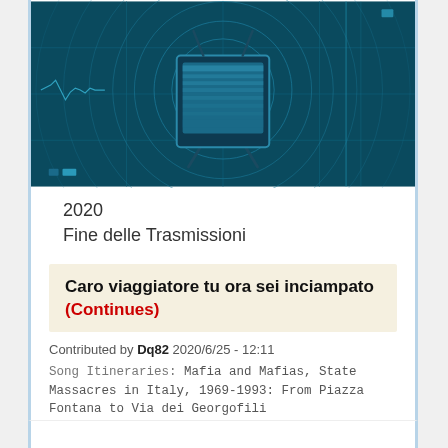[Figure (illustration): Digital illustration of a retro television set on a stand with concentric circular wave patterns emanating from it on a dark teal/blue background, with grid lines and small indicator lights at the bottom left.]
2020
Fine delle Trasmissioni
Caro viaggiatore tu ora sei inciampato (Continues)
Contributed by Dq82 2020/6/25 - 12:11
Song Itineraries: Mafia and Mafias, State Massacres in Italy, 1969-1993: From Piazza Fontana to Via dei Georgofili